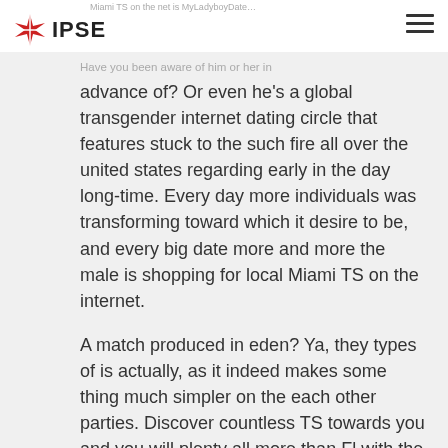Miami TS on the net is MyLadyboyDate…
Have you been aware of him or her in advance of? Or even he’s a global transgender internet dating circle that features stuck to the such fire all over the united states regarding early in the day long-time. Every day more individuals was transforming toward which it desire to be, and every big date more and more the male is shopping for local Miami TS on the internet.
A match produced in eden? Ya, they types of is actually, as it indeed makes some thing much simpler on the each other parties. Discover countless TS towards you and you will plenty all more than Fl with the site, and also at the speed